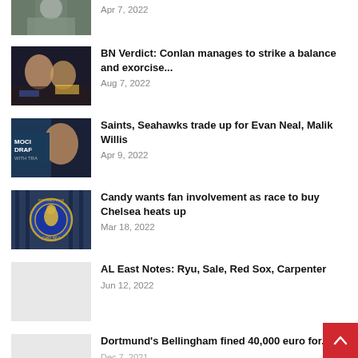[Figure (photo): Partial photo of person on sports field, cropped at top]
Apr 7, 2022
[Figure (photo): Two boxers fighting in a ring]
BN Verdict: Conlan manages to strike a balance and exorcise...
Aug 7, 2022
[Figure (photo): NFL Mock Draft graphic with player smiling]
Saints, Seahawks trade up for Evan Neal, Malik Willis
Apr 9, 2022
[Figure (photo): Chelsea Football Club badge/logo on gate]
Candy wants fan involvement as race to buy Chelsea heats up
Mar 18, 2022
[Figure (photo): Grey placeholder image]
AL East Notes: Ryu, Sale, Red Sox, Carpenter
Jun 12, 2022
[Figure (photo): Grey placeholder image]
Dortmund's Bellingham fined 40,000 euro for...
Dec 7, 2021